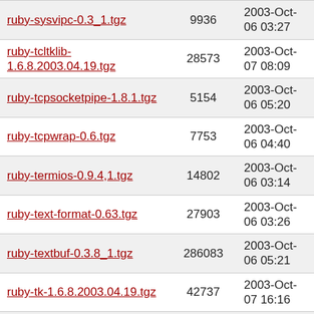| ruby-sysvipc-0.3_1.tgz | 9936 | 2003-Oct-06 03:27 |
| ruby-tcltklib-1.6.8.2003.04.19.tgz | 28573 | 2003-Oct-07 08:09 |
| ruby-tcpsocketpipe-1.8.1.tgz | 5154 | 2003-Oct-06 05:20 |
| ruby-tcpwrap-0.6.tgz | 7753 | 2003-Oct-06 04:40 |
| ruby-termios-0.9.4,1.tgz | 14802 | 2003-Oct-06 03:14 |
| ruby-text-format-0.63.tgz | 27903 | 2003-Oct-06 03:26 |
| ruby-textbuf-0.3.8_1.tgz | 286083 | 2003-Oct-06 05:21 |
| ruby-tk-1.6.8.2003.04.19.tgz | 42737 | 2003-Oct-07 16:16 |
| ruby-tmail-0.10.7.tgz | 76128 | 2003-Oct-06 05:15 |
| ruby-tmpl-0.2.3.tgz | 6808 | 2003-Oct-06 03:27 |
| ruby-tserver-0.0.8.tgz | 5181 | 2003-Oct-06 03:21 |